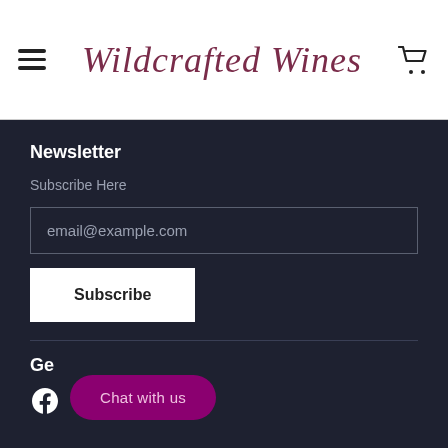Wildcrafted Wines
Newsletter
Subscribe Here
email@example.com
Subscribe
Ge...
[Figure (infographic): Social media icons: Facebook, Instagram, YouTube, LinkedIn]
Chat with us